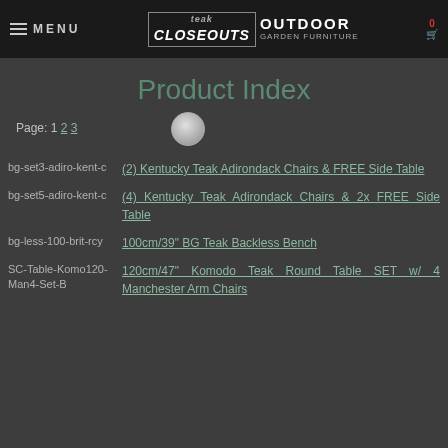≡ MENU | Teak Closeouts OUTDOOR GARDEN FURNITURE | 0
Product Index
Page: 1 2 3
bg-set3-adiro-kent-c — (2) Kentucky Teak Adirondack Chairs & FREE Side Table
bg-set5-adiro-kent-c — (4) Kentucky Teak Adirondack Chairs & 2x FREE Side Table
bg-less-100-brit-rcy — 100cm/39" BG Teak Backless Bench
SC-Table-Komo120-Man4-Set-B — 120cm/47" Komodo Teak Round Table SET w/ 4 Manchester Arm Chairs